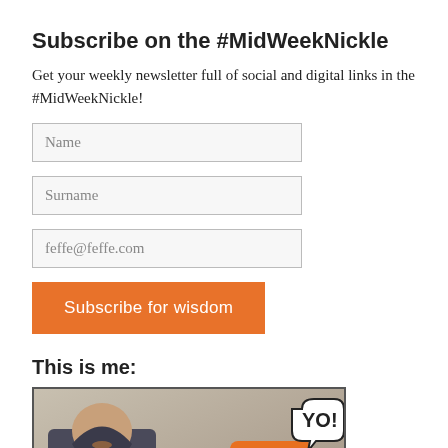Subscribe on the #MidWeekNickle
Get your weekly newsletter full of social and digital links in the #MidWeekNickle!
Name
Surname
feffe@feffe.com
Subscribe for wisdom
This is me:
[Figure (photo): A man in a hoodie standing next to an orange cartoon character with a 'YO!' speech bubble graffiti]